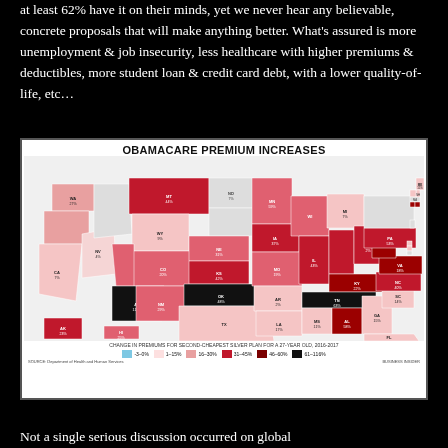at least 62% have it on their minds, yet we never hear any believable, concrete proposals that will make anything better. What's assured is more unemployment & job insecurity, less healthcare with higher premiums & deductibles, more student loan & credit card debt, with a lower quality-of-life, etc…
[Figure (map): Choropleth map of the United States showing Obamacare premium increases by state. Title: OBAMACARE PREMIUM INCREASES. Subtitle: CHANGE IN PREMIUMS FOR SECOND-CHEAPEST SILVER PLAN FOR A 27-YEAR OLD, 2016-2017. Legend: -3-0% (blue), 1-15% (light pink), 16-30% (pink), 31-45% (red), 46-60% (dark red), 61-116% (black). Source: Department of Health and Human Services. Business Insider.]
Not a single serious discussion occurred on global